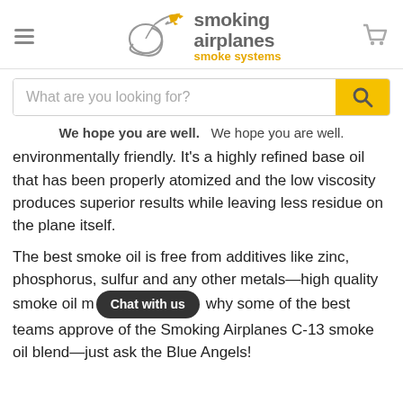smoking airplanes smoke systems
We hope you are well.   We hope you are well.
environmentally friendly. It's a highly refined base oil that has been properly atomized and the low viscosity produces superior results while leaving less residue on the plane itself.
The best smoke oil is free from additives like zinc, phosphorus, sulfur and any other metals—high quality smoke oil m[...] trail of smoke and longevity of the sm[...] why some of the best teams approve of the Smoking Airplanes C-13 smoke oil blend—just ask the Blue Angels!